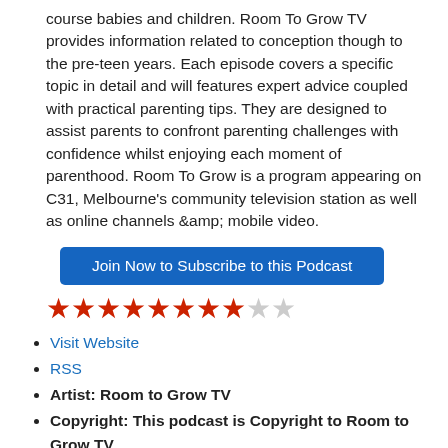course babies and children. Room To Grow TV provides information related to conception though to the pre-teen years. Each episode covers a specific topic in detail and will features expert advice coupled with practical parenting tips. They are designed to assist parents to confront parenting challenges with confidence whilst enjoying each moment of parenthood. Room To Grow is a program appearing on C31, Melbourne's community television station as well as online channels &amp; mobile video.
[Figure (other): Blue 'Join Now to Subscribe to this Podcast' button]
[Figure (other): Star rating: 8 out of 10 stars (8 filled red stars, 1 half, 1 empty)]
Visit Website
RSS
Artist: Room to Grow TV
Copyright: This podcast is Copyright to Room to Grow TV
Podcasts:
▶Strawberry Cupcakes with Kambrook's Angel Cakes Mini Cupcake Maker | File Type: video/mp4 | Duration: Unknown
▶Baked Cinnamon Apple Finger Food | File Type: video/mp4 | Duration: Unknown